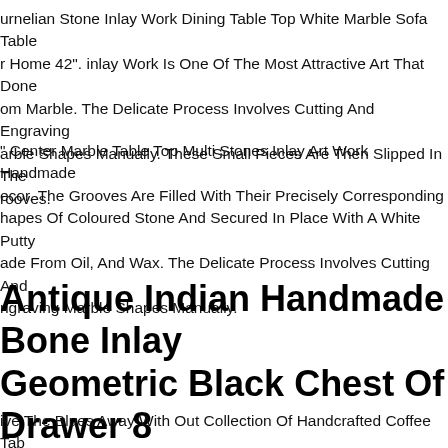urnelian Stone Inlay Work Dining Table Top White Marble Sofa Table r Home 42". inlay Work Is One Of The Most Attractive Art That Done om Marble. The Delicate Process Involves Cutting And Engraving arble Shapes Manually. These Small Pieces Are Then Slipped In The rooves.
" Center Marble Table Top Multi Stones Inlay Art Work Handmade ecor. The Grooves Are Filled With Their Precisely Corresponding hapes Of Coloured Stone And Secured In Place With A White Putty ade From Oil, And Wax. The Delicate Process Involves Cutting And ngraving Marble Shapes Manually.
Antique Indian Handmade Bone Inlay Geometric Black Chest Of Drawer 8 Drawer
ive The Blues Away With Out Collection Of Handcrafted Coffee Tab onsoor, Console Table, Sideboard, Tray, Chair, Sofa, Many Furniture